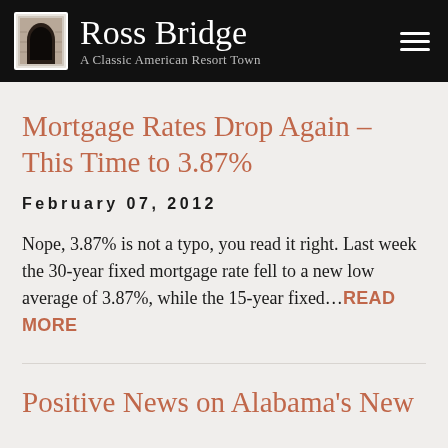Ross Bridge — A Classic American Resort Town
Mortgage Rates Drop Again – This Time to 3.87%
February 07, 2012
Nope, 3.87% is not a typo, you read it right. Last week the 30-year fixed mortgage rate fell to a new low average of 3.87%, while the 15-year fixed...READ MORE
Positive News on Alabama's New